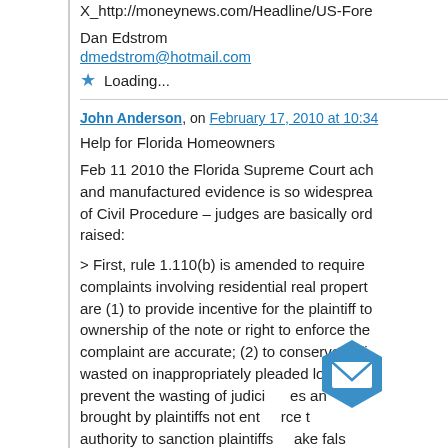X_http://moneynews.com/Headline/US-Fore
Dan Edstrom
dmedstrom@hotmail.com
Loading...
John Anderson, on February 17, 2010 at 10:34
Help for Florida Homeowners
Feb 11 2010 the Florida Supreme Court ach... and manufactured evidence is so widespread of Civil Procedure – judges are basically ord raised:
> First, rule 1.110(b) is amended to require complaints involving residential real propert are (1) to provide incentive for the plaintiff to ownership of the note or right to enforce the complaint are accurate; (2) to conserve judi wasted on inappropriately pleaded lost note prevent the wasting of judici es an brought by plaintiffs not ent rce the authority to sanction plaintiffs ake fals